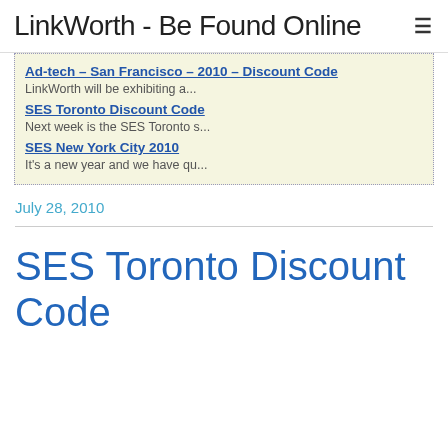LinkWorth - Be Found Online
Ad-tech – San Francisco – 2010 – Discount Code
LinkWorth will be exhibiting a...
SES Toronto Discount Code
Next week is the SES Toronto s...
SES New York City 2010
It's a new year and we have qu...
July 28, 2010
SES Toronto Discount Code